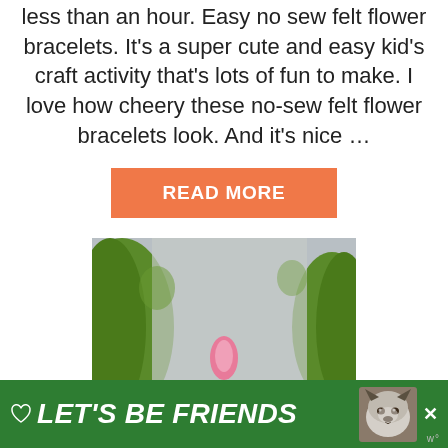less than an hour. Easy no sew felt flower bracelets. It's a super cute and easy kid's craft activity that's lots of fun to make. I love how cheery these no-sew felt flower bracelets look. And it's nice …
READ MORE
[Figure (photo): Close-up photo of green felt flowers with a small pink felt petal/flower in the center against a light gray background]
[Figure (infographic): Green advertisement banner reading LET'S BE FRIENDS with a husky dog image and a close/X button]